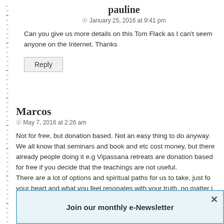pauline
January 25, 2016 at 9:41 pm
Can you give us more details on this Tom Flack as I can't seem anyone on the Internet. Thanks
Reply
Marcos
May 7, 2016 at 2:26 am
Not for free, but donation based. Not an easy thing to do anyway. We all know that seminars and book and etc cost money, but there already people doing it e.g Vipassana retreats are donation based for free if you decide that the teachings are not useful. There are a lot of options and spiritual paths for us to take, just fo your heart and what you feel resonates with your truth, no matter i have to pay $1000 or it is free. My spiritual path has taken me to a point where I am living a very s and honest life. I can't pay a big amount of money for a retreat so not so n wealthy that bar
Join our monthly e-Newsletter